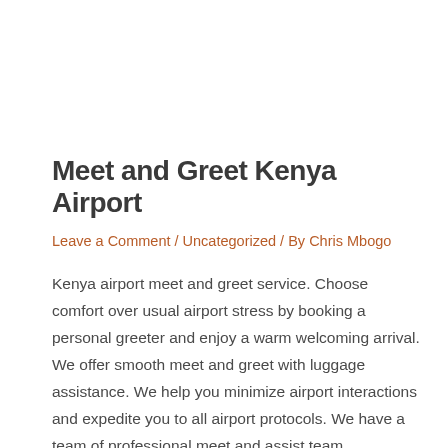Meet and Greet Kenya Airport
Leave a Comment / Uncategorized / By Chris Mbogo
Kenya airport meet and greet service. Choose comfort over usual airport stress by booking a personal greeter and enjoy a warm welcoming arrival. We offer smooth meet and greet with luggage assistance. We help you minimize airport interactions and expedite you to all airport protocols. We have a team of professional meet and assist team …
Read More »